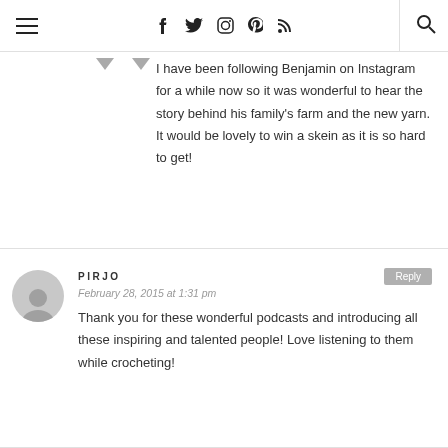Navigation header with hamburger menu, social icons (Facebook, Twitter, Instagram, Pinterest, RSS), and search icon
I have been following Benjamin on Instagram for a while now so it was wonderful to hear the story behind his family’s farm and the new yarn. It would be lovely to win a skein as it is so hard to get!
PIRJO
February 28, 2015 at 1:31 pm
Thank you for these wonderful podcasts and introducing all these inspiring and talented people! Love listening to them while crocheting!